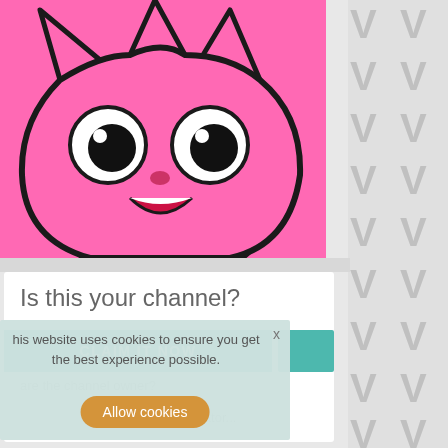[Figure (illustration): Pink cartoon cat/monster character with large white eyes with black pupils, small dark nose, and open smiling mouth showing red interior, with crown-like spikes on top. Black outline style on pink background.]
Is this your channel?
CLAIM IT NOW
his website uses cookies to ensure you get the best experience possible.
x
Allow cookies
▸ About This Creator...